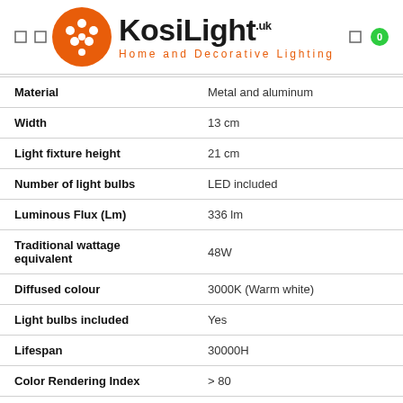[Figure (logo): KosiLight logo with orange circle containing white dots, bold black KosiLight.uk text, and orange 'Home and Decorative Lighting' tagline]
| Property | Value |
| --- | --- |
| Material | Metal and aluminum |
| Width | 13 cm |
| Light fixture height | 21 cm |
| Number of light bulbs | LED included |
| Luminous Flux (Lm) | 336 lm |
| Traditional wattage equivalent | 48W |
| Diffused colour | 3000K (Warm white) |
| Light bulbs included | Yes |
| Lifespan | 30000H |
| Color Rendering Index | > 80 |
| Wattage | 6W |